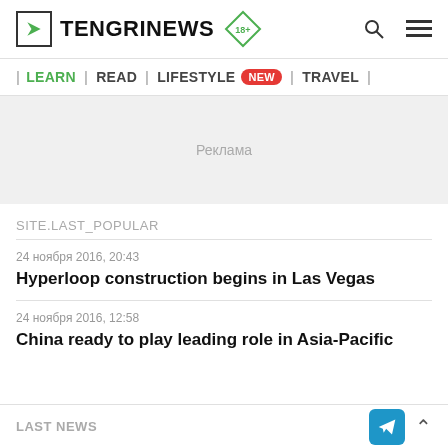TENGRINEWS 18+
| LEARN | READ | LIFESTYLE NEW | TRAVEL |
[Figure (other): Advertisement placeholder area with text 'Реклама']
SITE.LAST_POPULAR
24 ноября 2016, 20:43
Hyperloop construction begins in Las Vegas
24 ноября 2016, 12:58
China ready to play leading role in Asia-Pacific
LAST NEWS